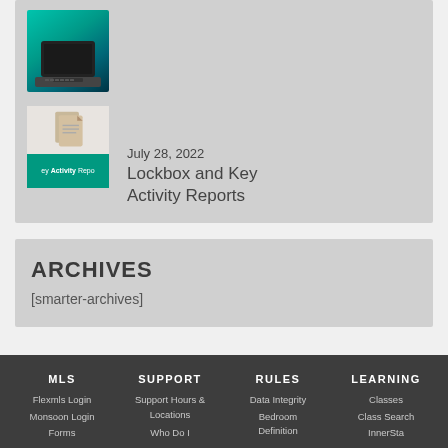[Figure (illustration): Laptop on teal/dark background thumbnail (partially visible at top)]
July 28, 2022
Lockbox and Key Activity Reports
[Figure (illustration): Document pages icon with teal bottom strip showing 'ey Activity Repo' text]
ARCHIVES
[smarter-archives]
MLS  SUPPORT  RULES  LEARNING  Flexmls Login  Support Hours & Locations  Data Integrity  Classes  Monsoon Login  Bedroom Definition  Class Search  Forms  Who Do I  InnerSta